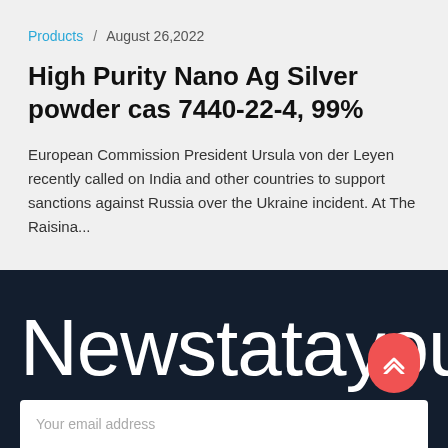Products / August 26,2022
High Purity Nano Ag Silver powder cas 7440-22-4, 99%
European Commission President Ursula von der Leyen recently called on India and other countries to support sanctions against Russia over the Ukraine incident. At The Raisina...
Newstatayoung
Your email address